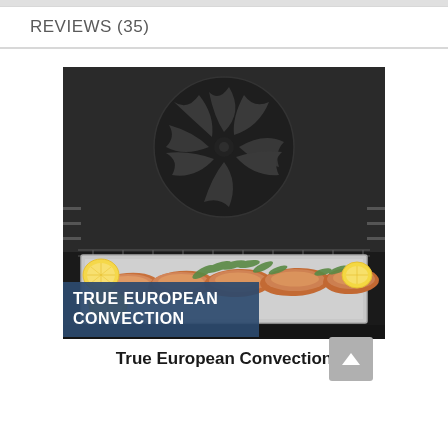REVIEWS (35)
[Figure (photo): Interior of an oven with a baking tray holding several salmon fillets garnished with dill and lemon slices. A blue banner overlay reads 'TRUE EUROPEAN CONVECTION' in white bold text.]
True European Convection